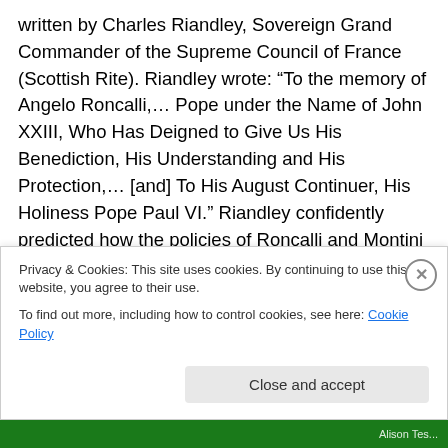written by Charles Riandley, Sovereign Grand Commander of the Supreme Council of France (Scottish Rite). Riandley wrote: “To the memory of Angelo Roncalli,… Pope under the Name of John XXIII, Who Has Deigned to Give Us His Benediction, His Understanding and His Protection,… [and] To His August Continuer, His Holiness Pope Paul VI.” Riandley confidently predicted how the policies of Roncalli and Montini would advance the Masonic agenda: “We are convinced of the narrowness of the spiritual, cultural, scientific, social and economic structures which up to our own time, have hindered the actions and the thoughts of
Privacy & Cookies: This site uses cookies. By continuing to use this website, you agree to their use.
To find out more, including how to control cookies, see here: Cookie Policy
Close and accept